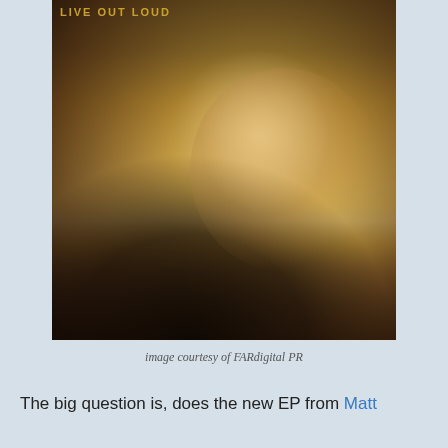[Figure (photo): Album cover photo of a man with dark hair looking downward, smiling, with a bright sunset/backlight behind him over hills. He is wearing a dark denim jacket. Gold text 'LIVE OUT LOUD' appears in the top left corner of the image.]
image courtesy of FARdigital PR
The big question is, does the new EP from Matt